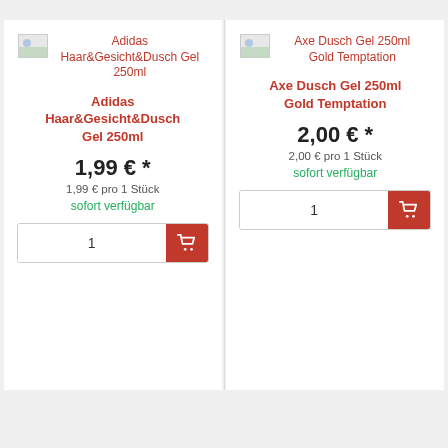[Figure (other): Product image placeholder for Adidas Haar&Gesicht&Dusch Gel 250ml]
Adidas Haar&Gesicht&Dusch Gel 250ml
Adidas Haar&Gesicht&Dusch Gel 250ml
1,99 € *
1,99 € pro 1 Stück
sofort verfügbar
[Figure (other): Product image placeholder for Axe Dusch Gel 250ml Gold Temptation]
Axe Dusch Gel 250ml Gold Temptation
Axe Dusch Gel 250ml Gold Temptation
2,00 € *
2,00 € pro 1 Stück
sofort verfügbar